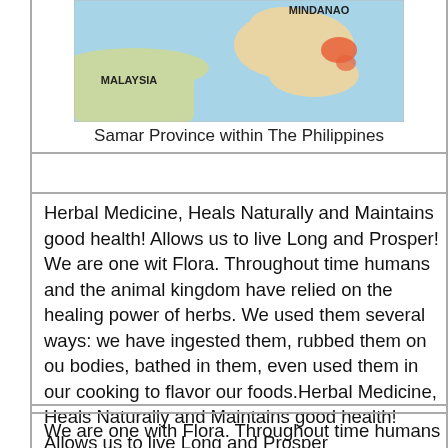[Figure (map): Map showing Samar Province within The Philippines, with labels for MINDANAO and MALAYSIA visible. The highlighted region is shown in orange/red on the eastern part of the Philippines.]
Samar Province within The Philippines
Herbal Medicine, Heals Naturally and Maintains good health! Allows us to live Long and Prosper! We are one with Flora. Throughout time humans and the animal kingdom have relied on the healing power of herbs. We used them several ways: we have ingested them, rubbed them on our bodies, bathed in them, even used them in our cooking to flavor our foods.Herbal Medicine, Heals Naturally and Maintains good health! Allows us to live Long and Prosper
We are one with Flora. Throughout time humans and the animal kingdom have relied on the healing power of herbs. We used them in several ways: we have ingested them,